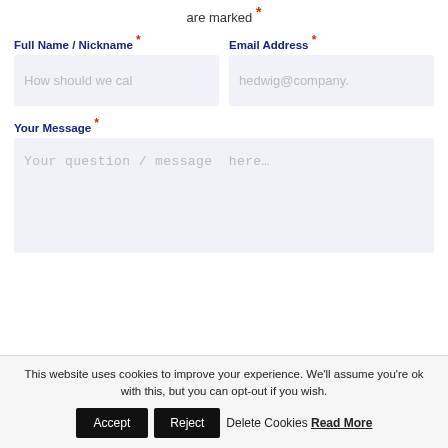are marked *
Full Name / Nickname *
How should we cal
Email Address *
hedwig@company.
Your Message *
Your question / message  here…
This website uses cookies to improve your experience. We'll assume you're ok with this, but you can opt-out if you wish.
Accept
Reject
Delete Cookies Read More